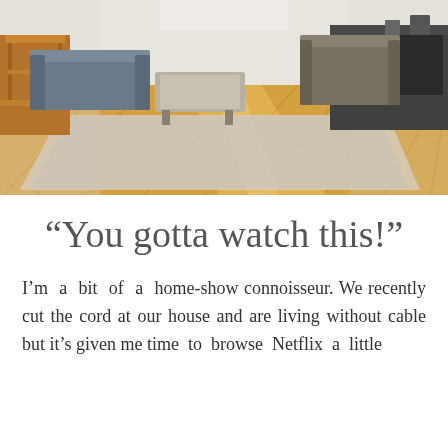[Figure (photo): Interior photo of a living room with hardwood floors, a large area rug, a sofa, ottoman, side table, and entertainment center viewed from a wide angle perspective.]
“You gotta watch this!”
I’m a bit of a home-show connoisseur. We recently cut the cord at our house and are living without cable but it’s given me time to browse Netflix a little